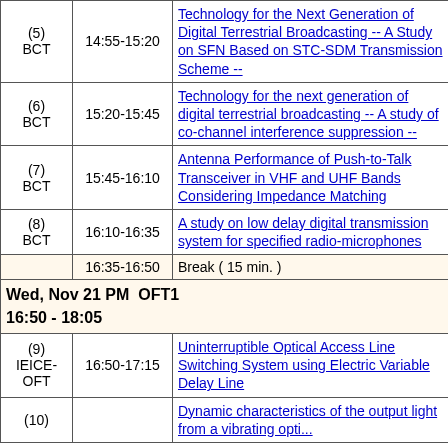|  | Time | Title |
| --- | --- | --- |
| (5)
BCT | 14:55-15:20 | Technology for the Next Generation of Digital Terrestrial Broadcasting -- A Study on SFN Based on STC-SDM Transmission Scheme -- |
| (6)
BCT | 15:20-15:45 | Technology for the next generation of digital terrestrial broadcasting -- A study of co-channel interference suppression -- |
| (7)
BCT | 15:45-16:10 | Antenna Performance of Push-to-Talk Transceiver in VHF and UHF Bands Considering Impedance Matching |
| (8)
BCT | 16:10-16:35 | A study on low delay digital transmission system for specified radio-microphones |
|  | 16:35-16:50 | Break ( 15 min. ) |
| Wed, Nov 21 PM  OFT1
16:50 - 18:05 |  |  |
| (9)
IEICE-OFT | 16:50-17:15 | Uninterruptible Optical Access Line Switching System using Electric Variable Delay Line |
| (10) |  | Dynamic characteristics of the output light from a vibrating optical... |